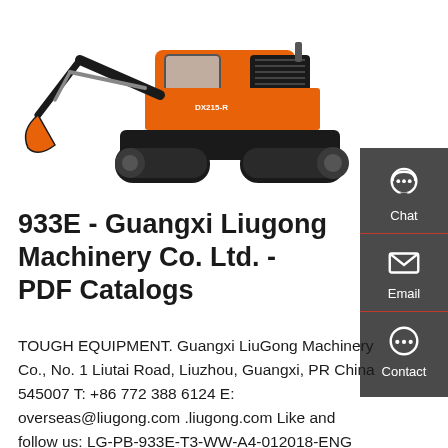[Figure (photo): Orange Doosan DX215 excavator on white background, shown in profile with boom extended to the left and tracks visible.]
933E - Guangxi Liugong Machinery Co. Ltd. - PDF Catalogs
TOUGH EQUIPMENT. Guangxi LiuGong Machinery Co., No. 1 Liutai Road, Liuzhou, Guangxi, PR China 545007 T: +86 772 388 6124 E: overseas@liugong.com .liugong.com Like and follow us: LG-PB-933E-T3-WW-A4-012018-ENG LiuGong series of logos herein, including but not limited to word marks, device marks, letter of alphabet marks and combination